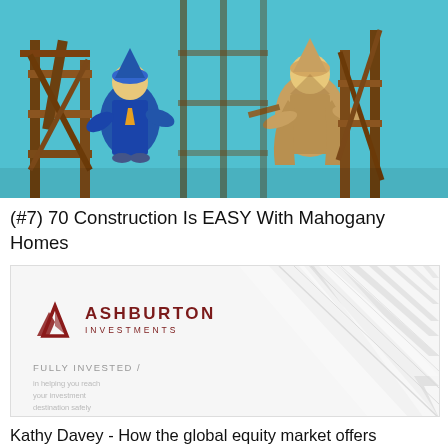[Figure (illustration): Animated/illustrated scene showing two characters in medieval or fantasy style near wooden scaffolding, with a teal/cyan background. Related to RuneScape or similar game construction theme.]
(#7) 70 Construction Is EASY With Mahogany Homes
[Figure (logo): Ashburton Investments advertisement banner with company logo (red triangle/mountain icon), diagonal stripe graphic on right side, and text 'FULLY INVESTED / in helping you reach your investment destination safely']
Kathy Davey - How the global equity market offers investors a much wider opportunity set